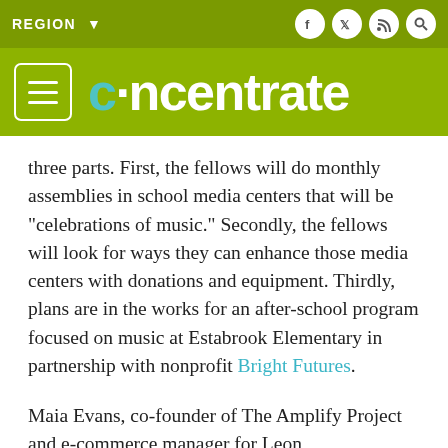REGION ▾
[Figure (logo): Concentrate website logo with hamburger menu button on olive/green background]
three parts. First, the fellows will do monthly assemblies in school media centers that will be "celebrations of music." Secondly, the fellows will look for ways they can enhance those media centers with donations and equipment. Thirdly, plans are in the works for an after-school program focused on music at Estabrook Elementary in partnership with nonprofit Bright Futures.
Maia Evans, co-founder of The Amplify Project and e-commerce manager for Leon Speakers, says the mission is...